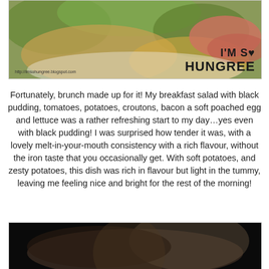[Figure (photo): Food photo of a breakfast salad sandwich with lettuce, bacon, and other ingredients. Watermark text reads 'I'M SO HUNGREE' with URL http://imsohungree.blogspot.com]
Fortunately, brunch made up for it! My breakfast salad with black pudding, tomatoes, potatoes, croutons, bacon a soft poached egg and lettuce was a rather refreshing start to my day…yes even with black pudding! I was surprised how tender it was, with a lovely melt-in-your-mouth consistency with a rich flavour, without the iron taste that you occasionally get. With soft potatoes, and zesty potatoes, this dish was rich in flavour but light in the tummy, leaving me feeling nice and bright for the rest of the morning!
[Figure (photo): Dark, blurry food photo showing a dish in low light]